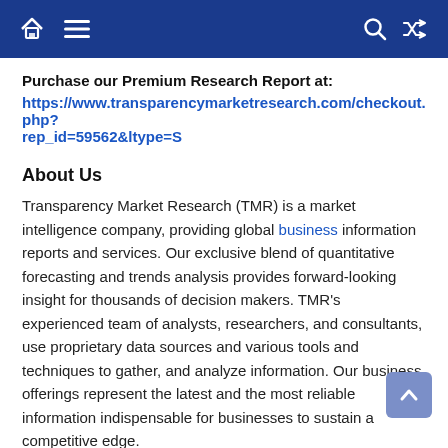Navigation bar with home, menu, search, and shuffle icons
Purchase our Premium Research Report at:
https://www.transparencymarketresearch.com/checkout.php?rep_id=59562&ltype=S
About Us
Transparency Market Research (TMR) is a market intelligence company, providing global business information reports and services. Our exclusive blend of quantitative forecasting and trends analysis provides forward-looking insight for thousands of decision makers. TMR's experienced team of analysts, researchers, and consultants, use proprietary data sources and various tools and techniques to gather, and analyze information. Our business offerings represent the latest and the most reliable information indispensable for businesses to sustain a competitive edge.
Each TMR syndicated research report covers a different sector –